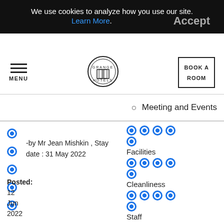We use cookies to analyze how you use our site. Learn More. Accept
MENU | GRANGE HOTELS | BOOK A ROOM
Meeting and Events
-by Mr Jean Mishkin , Stay date : 31 May 2022
Facilities
Cleanliness
Posted:
12
Jun
2022
Staff